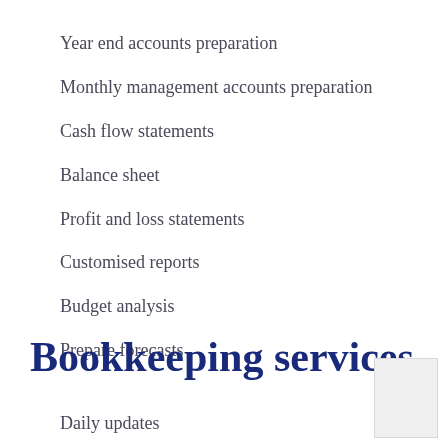Year end accounts preparation
Monthly management accounts preparation
Cash flow statements
Balance sheet
Profit and loss statements
Customised reports
Budget analysis
Prepare forecasts
Bookkeeping services
Daily updates